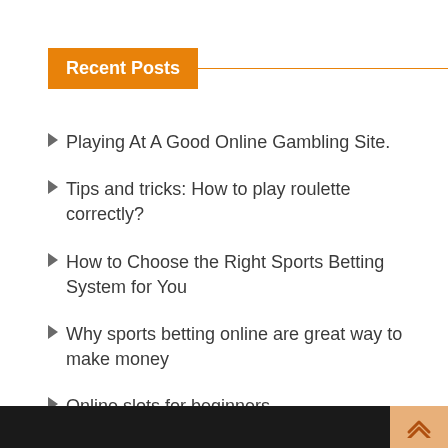Recent Posts
Playing At A Good Online Gambling Site.
Tips and tricks: How to play roulette correctly?
How to Choose the Right Sports Betting System for You
Why sports betting online are great way to make money
Online slots for beginners